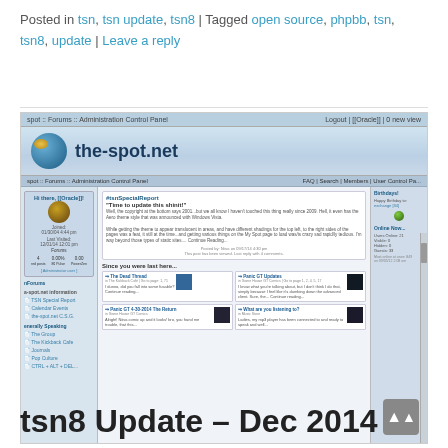Posted in tsn, tsn update, tsn8 | Tagged open source, phpbb, tsn, tsn8, update | Leave a reply
[Figure (screenshot): Screenshot of the-spot.net phpBB forum administration panel showing forum homepage with logo, navigation, sidebar with user info, main content area with TSN Special Report article and 'Since you were last here...' section with post thumbnails, and a birthdays/online now sidebar.]
tsn8 Update – Dec 2014